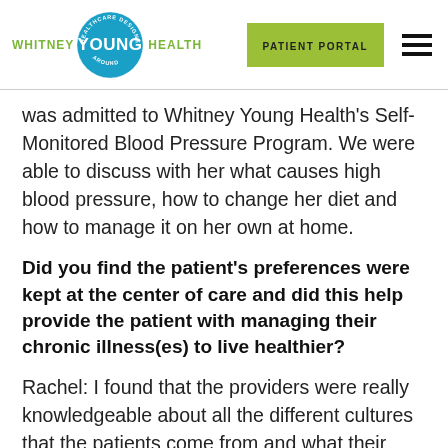[Figure (logo): Whitney Young Health logo with circular blue badge containing 'YOUNG' text and arc text 'HEALTHCARE DESIGNED AROUND', with green 'WHITNEY' and 'HEALTH' text on either side]
was admitted to Whitney Young Health's Self-Monitored Blood Pressure Program. We were able to discuss with her what causes high blood pressure, how to change her diet and how to manage it on her own at home.
Did you find the patient's preferences were kept at the center of care and did this help provide the patient with managing their chronic illness(es) to live healthier?
Rachel: I found that the providers were really knowledgeable about all the different cultures that the patients come from and what their